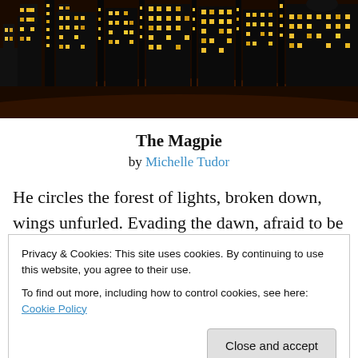[Figure (illustration): Illustrated city skyline at night with illuminated building windows in yellow and orange tones against a dark background]
The Magpie
by Michelle Tudor
He circles the forest of lights, broken down, wings unfurled. Evading the dawn, afraid to be seen. He tucks
Privacy & Cookies: This site uses cookies. By continuing to use this website, you agree to their use.
To find out more, including how to control cookies, see here: Cookie Policy
Close and accept
awakens. Leave me, he cries. Later, the traffic fumos